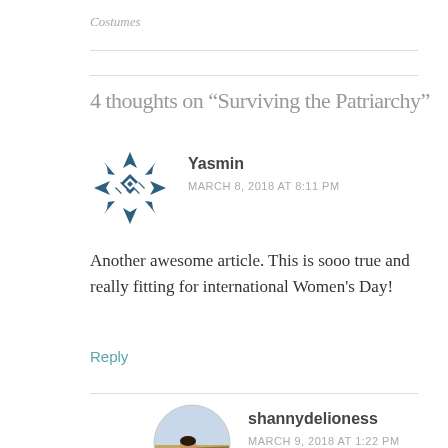Costumes
4 thoughts on “Surviving the Patriarchy”
[Figure (illustration): Geometric snowflake/star avatar icon in dark teal/navy blue for user Yasmin]
Yasmin
MARCH 8, 2018 AT 8:11 PM
Another awesome article. This is sooo true and really fitting for international Women's Day!
Reply
[Figure (photo): Circular profile photo of shannydelioness showing a person outdoors with a landscape background]
shannydelioness
MARCH 9, 2018 AT 1:22 PM